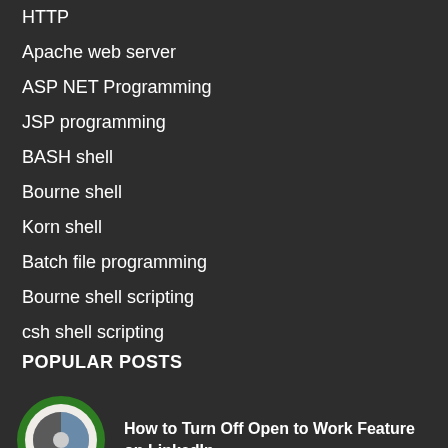HTTP
Apache web server
ASP NET Programming
JSP programming
BASH shell
Bourne shell
Korn shell
Batch file programming
Bourne shell scripting
csh shell scripting
POPULAR POSTS
[Figure (logo): Green circular badge with Open to Work text and a gray/blue shield icon in the center]
How to Turn Off Open to Work Feature on LinkedIn